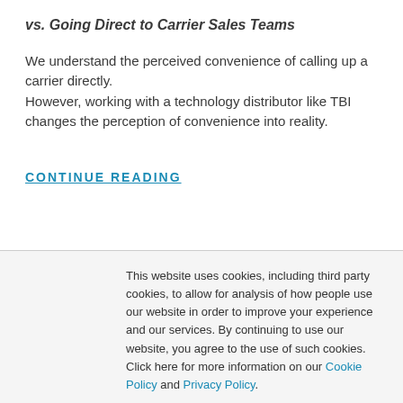vs. Going Direct to Carrier Sales Teams
We understand the perceived convenience of calling up a carrier directly.
However, working with a technology distributor like TBI changes the perception of convenience into reality.
CONTINUE READING
This website uses cookies, including third party cookies, to allow for analysis of how people use our website in order to improve your experience and our services. By continuing to use our website, you agree to the use of such cookies. Click here for more information on our Cookie Policy and Privacy Policy.
Accept